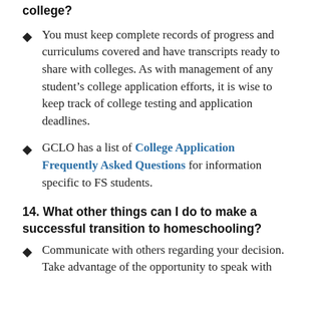college?
You must keep complete records of progress and curriculums covered and have transcripts ready to share with colleges. As with management of any student’s college application efforts, it is wise to keep track of college testing and application deadlines.
GCLO has a list of College Application Frequently Asked Questions for information specific to FS students.
14. What other things can I do to make a successful transition to homeschooling?
Communicate with others regarding your decision. Take advantage of the opportunity to speak with